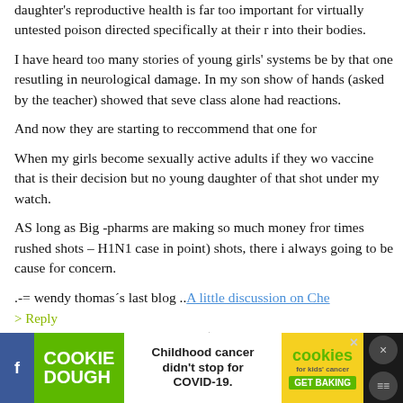daughter's reproductive health is far too important for virtually untested poison directed specifically at their r into their bodies.
I have heard too many stories of young girls' systems be by that one resutling in neurological damage. In my son show of hands (asked by the teacher) showed that seve class alone had reactions.
And now they are starting to reccommend that one for
When my girls become sexually active adults if they wo vaccine that is their decision but no young daughter of that shot under my watch.
AS long as Big -pharms are making so much money fro times rushed shots – H1N1 case in point) shots, there i always going to be cause for concern.
.-= wendy thomas's last blog ..A little discussion on Che
> Reply
[Figure (screenshot): Advertisement banner: Cookie Dough green logo on left, 'Childhood cancer didn't stop for COVID-19.' text in center, cookies for kids cancer badge with GET BAKING on right, close button and social icons on far right, dark background.]